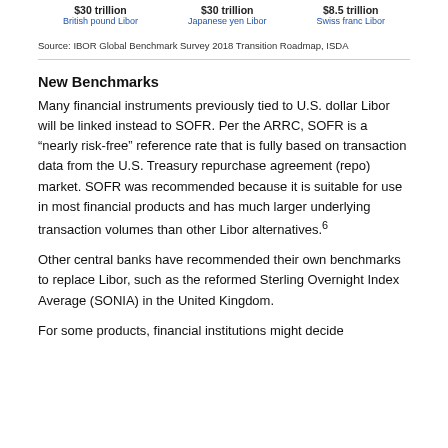$30 trillion British pound Libor | $30 trillion Japanese yen Libor | $8.5 trillion Swiss franc Libor
Source: IBOR Global Benchmark Survey 2018 Transition Roadmap, ISDA
New Benchmarks
Many financial instruments previously tied to U.S. dollar Libor will be linked instead to SOFR. Per the ARRC, SOFR is a “nearly risk-free” reference rate that is fully based on transaction data from the U.S. Treasury repurchase agreement (repo) market. SOFR was recommended because it is suitable for use in most financial products and has much larger underlying transaction volumes than other Libor alternatives.6
Other central banks have recommended their own benchmarks to replace Libor, such as the reformed Sterling Overnight Index Average (SONIA) in the United Kingdom.
For some products, financial institutions might decide